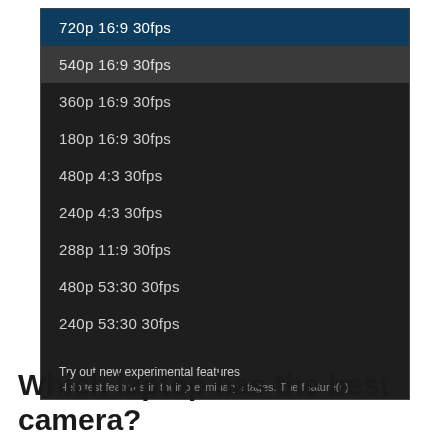[Figure (screenshot): A dropdown/settings menu on a dark background showing video resolution options: 720p 16:9 30fps (selected/highlighted in dark blue), 540p 16:9 30fps (secondary highlight in gray), 360p 16:9 30fps, 180p 16:9 30fps, 480p 4:3 30fps, 240p 4:3 30fps, 288p 11:9 30fps, 480p 53:30 30fps, 240p 53:30 30fps. At the bottom: 'Try out new experimental features' and 'Help test features in their preliminary stages. The feature(s)']
Which laptop has the best camera?